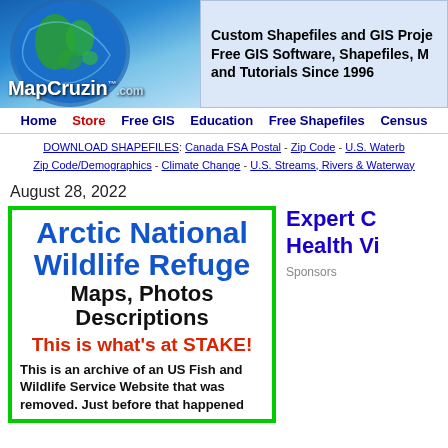[Figure (logo): MapCruzin.com logo with globe graphic]
Custom Shapefiles and GIS Proje... Free GIS Software, Shapefiles, M... and Tutorials Since 1996
Home  Store  Free GIS  Education  Free Shapefiles  Census
DOWNLOAD SHAPEFILES: Canada FSA Postal - Zip Code - U.S. Waterb... Zip Code/Demographics - Climate Change - U.S. Streams, Rivers & Waterway...
August 28, 2022
Arctic National Wildlife Refuge Maps, Photos Descriptions This is what's at STAKE! This is an archive of an US Fish and Wildlife Service Website that was removed. Just before that happened
Expert C... Health Vi... Sponsors